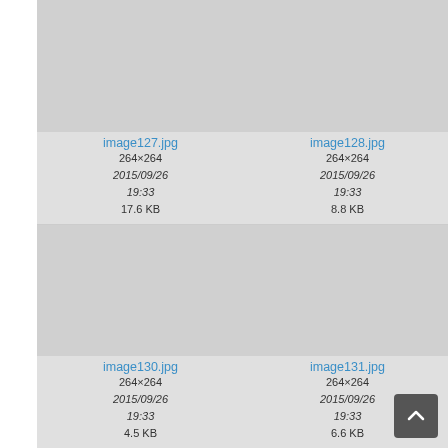[Figure (screenshot): File browser / gallery thumbnail view showing image files. Top row: image127.jpg (264×264, 2015/09/26 19:33, 17.6 KB), image128.jpg (264×264, 2015/09/26 19:33, 8.8 KB), image129.jpg (264×264, 2015/09/26 19:33, 10.6 KB, partially visible). Bottom row: image130.jpg (264×264, 2015/09/26 19:33, 4.5 KB), image131.jpg (264×264, 2015/09/26 19:33, 6.6 KB), image132.jpg (264×264, 2015/09/26 21:33, partially visible). Scroll-to-top button visible at bottom right.]